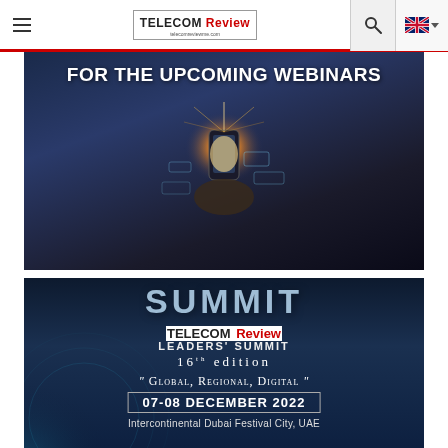Telecom Review — Navigation bar with logo, search, and language selector
[Figure (photo): Dark blue-toned banner with text 'FOR THE UPCOMING WEBINARS' and image of hands holding a smartphone with bright glow/light effects and digital circuit overlay]
[Figure (photo): Telecom Review Leaders' Summit banner: large 'SUMMIT' text in blue-gray, Telecom Review logo, '16th edition', quote 'Global, Regional, Digital', date 07-08 December 2022, Intercontinental Dubai Festival City, UAE]